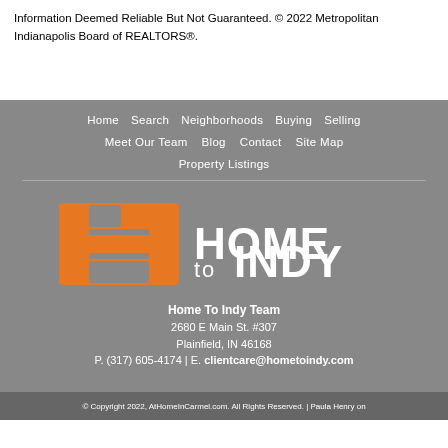Information Deemed Reliable But Not Guaranteed. © 2022 Metropolitan Indianapolis Board of REALTORS®.
Home  Search  Neighborhoods  Buying  Selling  Meet Our Team  Blog  Contact  Site Map  Property Listings
[Figure (logo): Home to Indy logo with orange H icon and white HOME to INDY text on gray background]
Home To Indy Team
2680 E Main St. #307
Plainfield, IN 46168
P. (317) 605-4174 | E. clientcare@hometoindy.com
© Copyright 2022, AtHomeInCarmel.com. All Rights Reserved. | Paula Henry on